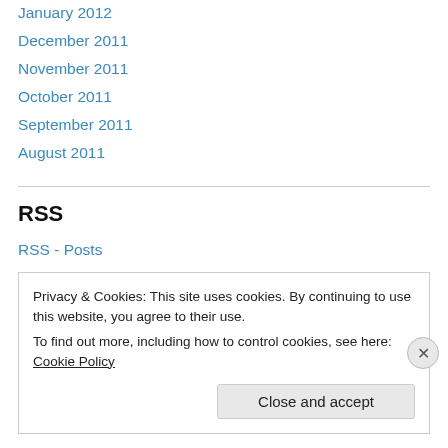January 2012
December 2011
November 2011
October 2011
September 2011
August 2011
RSS
RSS - Posts
RSS - Comments
Privacy & Cookies: This site uses cookies. By continuing to use this website, you agree to their use.
To find out more, including how to control cookies, see here: Cookie Policy
Close and accept